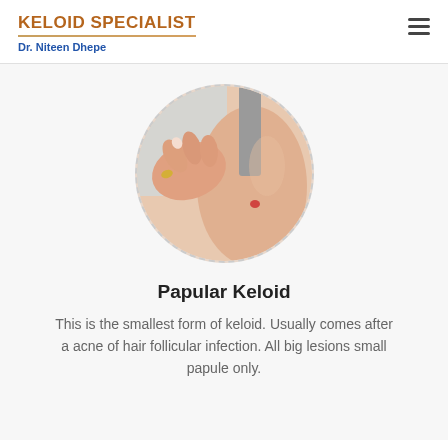KELOID SPECIALIST
Dr. Niteen Dhepe
[Figure (photo): Circular cropped photo of a person scratching their upper arm/shoulder, showing a small red lesion (papular keloid) on the skin. The person is wearing a gray strap.]
Papular Keloid
This is the smallest form of keloid. Usually comes after a acne of hair follicular infection. All big lesions small papule only.